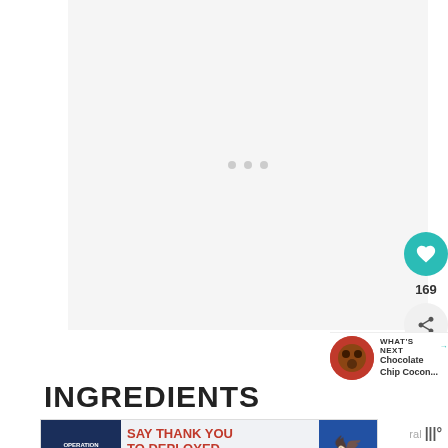[Figure (other): Large image placeholder with loading dots — content area showing a light gray background with three small gray circular dots in the center indicating the image is loading]
[Figure (other): Circular teal heart/like button with count 169 below it, and a circular share button below that]
[Figure (other): WHAT'S NEXT bar with thumbnail and text: Chocolate Chip Cocon...]
INGREDIENTS
[Figure (other): Advertisement banner: Operation Gratitude — SAY THANK YOU TO DEPLOYED TROOPS, with patriotic imagery and close button]